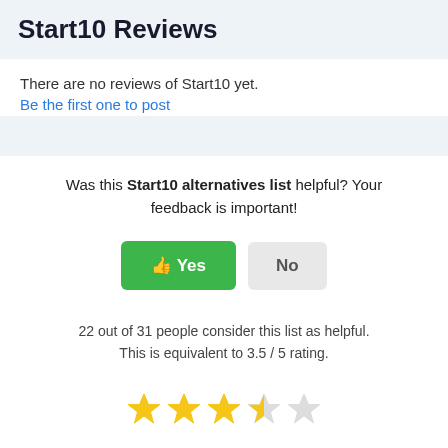Start10 Reviews
There are no reviews of Start10 yet.
Be the first one to post
Was this Start10 alternatives list helpful? Your feedback is important!
[Figure (other): Yes and No buttons for user feedback]
22 out of 31 people consider this list as helpful. This is equivalent to 3.5 / 5 rating.
[Figure (other): Star rating display showing 3.5 out of 5 stars (3 full stars, 1 half star, 1 empty star)]